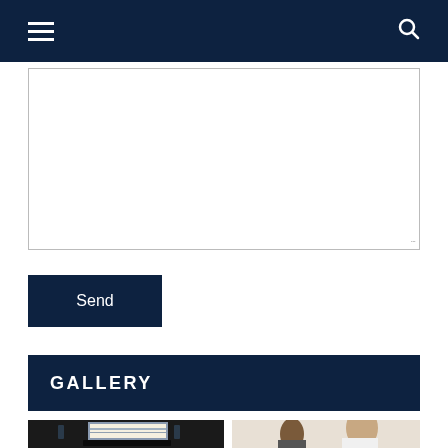Navigation bar with hamburger menu and search icon
[Figure (screenshot): Text area input box with resize handle in bottom right corner]
Send
GALLERY
[Figure (photo): Photo of a point-of-sale terminal with touchscreen monitor showing POS software, keyboard, and receipt printer on a stand]
[Figure (photo): Photo of two women in a business meeting, one in white blouse smiling, the other with curly hair, with coffee cups on the table]